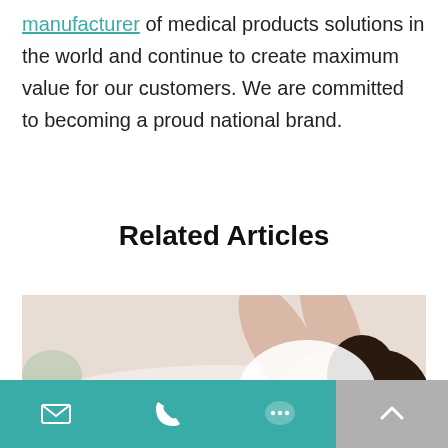manufacturer of medical products solutions in the world and continue to create maximum value for our customers. We are committed to becoming a proud national brand.
Related Articles
[Figure (photo): A woman lying down with a white face mask applied, eyes closed, arms raised behind her head, wearing a white top.]
Email | Phone | Chat | Scroll to top